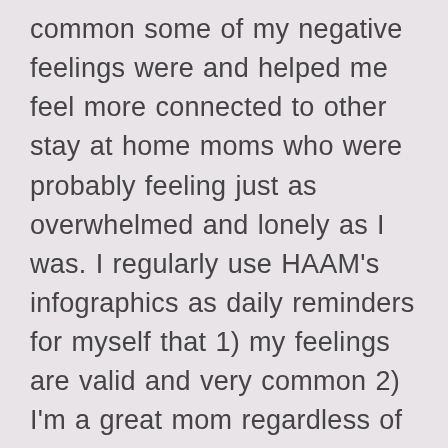common some of my negative feelings were and helped me feel more connected to other stay at home moms who were probably feeling just as overwhelmed and lonely as I was. I regularly use HAAM's infographics as daily reminders for myself that 1) my feelings are valid and very common 2) I'm a great mom regardless of how I'm feeling and how my babies behave. So grateful for this community of mothers!*